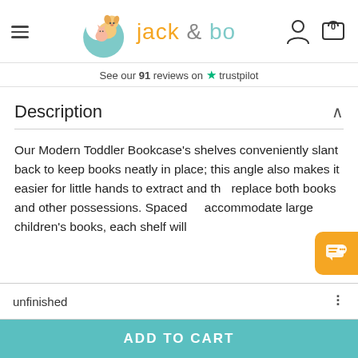[Figure (logo): Jack & Bo logo with teal moon and animals]
See our 91 reviews on ★ trustpilot
Description
Our Modern Toddler Bookcase's shelves conveniently slant back to keep books neatly in place; this angle also makes it easier for little hands to extract and the replace both books and other possessions. Spaced to accommodate large children's books, each shelf will
unfinished
ADD TO CART